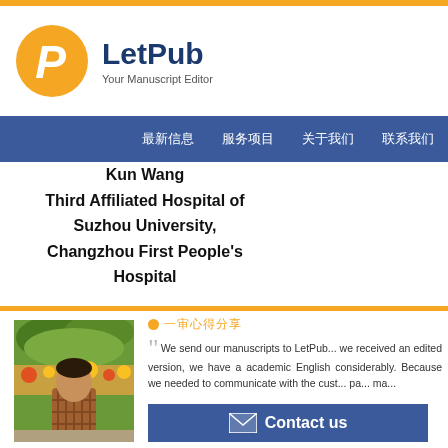[Figure (logo): LetPub logo — orange circle with white italic P, followed by LetPub in dark blue bold, subtitle Your Manuscript Editor]
LetPub — Your Manuscript Editor
Navigation bar with Chinese menu items
Kun Wang
Third Affiliated Hospital of Suzhou University, Changzhou First People's Hospital
[Figure (photo): Photo of Kun Wang standing outdoors in front of colorful flower displays]
We send our manuscripts to LetPub... we received an edited version, we have academic English considerably. Because we needed to communicate with the cust... pa... ma...
Contact us